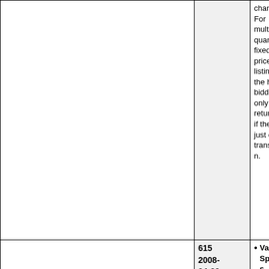|  | 615
2008-04-29 | chang
For
multip
quant
fixed-
price
listings
the hi
bidde
only
return
if ther
just o
transa
n.

• Varia
Spec
s
(adde
Identi
a
variation |